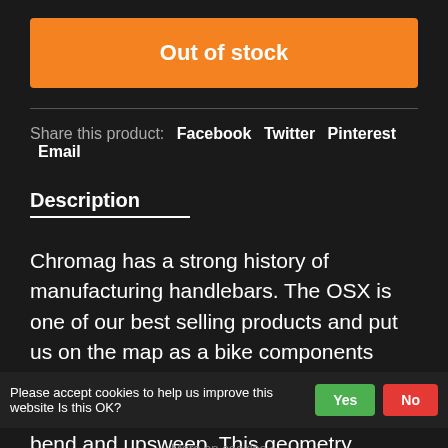Out of stock
Share this product: Facebook Twitter Pinterest Email
Description
Chromag has a strong history of manufacturing handlebars. The OSX is one of our best selling products and put us on the map as a bike components company. The OSX has a reputation for its perfect combination of bend and upsweep. This geometry combined with an array
Please accept cookies to help us improve this website Is this OK? Yes No
More on cookies »